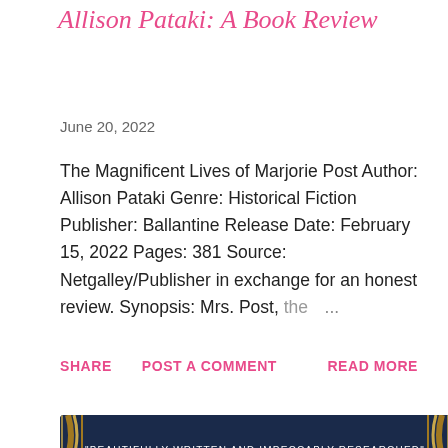Allison Pataki: A Book Review
June 20, 2022
The Magnificent Lives of Marjorie Post Author: Allison Pataki Genre: Historical Fiction Publisher: Ballantine Release Date: February 15, 2022 Pages: 381 Source: Netgalley/Publisher in exchange for an honest review. Synopsis: Mrs. Post, the …
SHARE   POST A COMMENT   READ MORE
[Figure (photo): Book cover of 'The Magnificent Lives of Marjorie Post' on dark navy background with gold ornamental border. Top text reads: "BEAUTIFULLY WRITTEN AND IMPECCABLY RESEARCHED" - FIONA DAVIS, BESTSELLING AUTHOR OF THE DOLLHOUSE. Sparkle/firework design in center.]